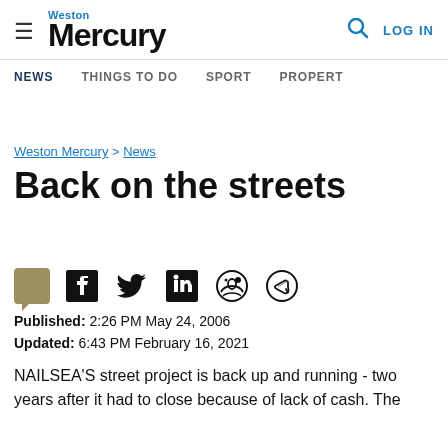Weston Mercury | NEWS | THINGS TO DO | SPORT | PROPERTY | LOG IN
Weston Mercury > News
Back on the streets
Published: 2:26 PM May 24, 2006
Updated: 6:43 PM February 16, 2021
NAILSEA'S street project is back up and running - two years after it had to close because of lack of cash. The